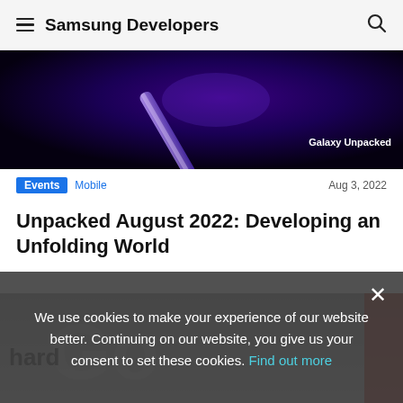Samsung Developers
[Figure (photo): Dark background with a glowing stylus/phone device and 'Galaxy Unpacked' text in bottom right]
Events  Mobile  Aug 3, 2022
Unpacked August 2022: Developing an Unfolding World
We use cookies to make your experience of our website better. Continuing on our website, you give us your consent to set these cookies. Find out more
[Figure (photo): Partial view of an indoor event space with large 3D letter installations, partially obscured by cookie consent overlay]